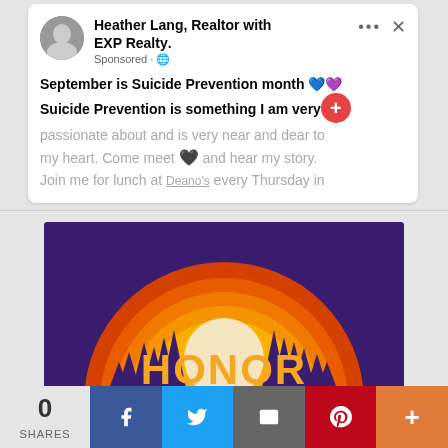[Figure (screenshot): Facebook sponsored post by Heather Lang, Realtor with EXP Realty. Post text: 'September is Suicide Prevention month [blue heart][purple heart] Suicide Prevention is something I am very passionate about and is very near and dear to my heart. Come meet [heart emoji] and hear my story. Join me for lunch at Deano's every Thursday in'. A red plus button overlay is shown. Post is marked as Sponsored.]
[Figure (photo): Honor Recovery event poster. Dark purple background with orange/golden sunrise arc and silhouette of pine trees. Text: 'HONOR RECOVERY' in large orange letters. 'Recovery is for EVERYONE. Every Person. Every Family. Every Community.' 'SEPTEMBER 1, 2021 Cody Downtown City Park 5 PM TO 7 PM']
0
SHARES